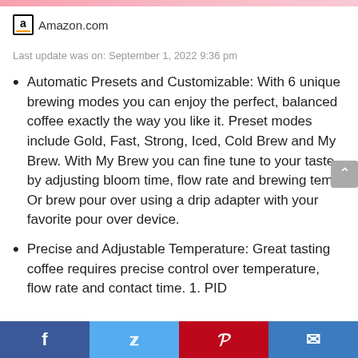Amazon.com
Last update was on: September 1, 2022 9:36 pm
Automatic Presets and Customizable: With 6 unique brewing modes you can enjoy the perfect, balanced coffee exactly the way you like it. Preset modes include Gold, Fast, Strong, Iced, Cold Brew and My Brew. With My Brew you can fine tune to your taste by adjusting bloom time, flow rate and brewing temp. Or brew pour over using a drip adapter with your favorite pour over device.
Precise and Adjustable Temperature: Great tasting coffee requires precise control over temperature, flow rate and contact time. 1. PID
Facebook | Twitter | Pinterest | Email